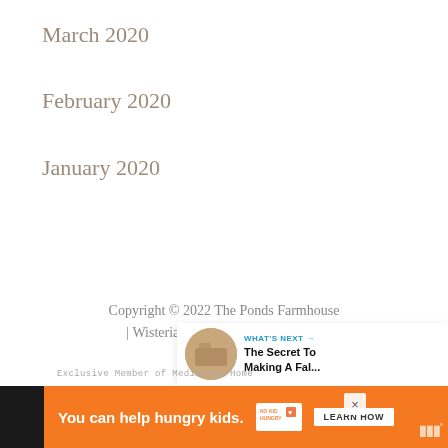March 2020
February 2020
January 2020
Copyright © 2022 The Ponds Farmhouse | Wisteria on Trellis Framework by Mediavine
Exclusive Member of Mediavine Home
[Figure (infographic): Advertisement banner: orange background, text 'You can help hungry kids.' with No Kid Hungry logo and 'LEARN HOW' button]
[Figure (infographic): What's Next panel showing thumbnail image and text 'The Secret To Making A Fal...']